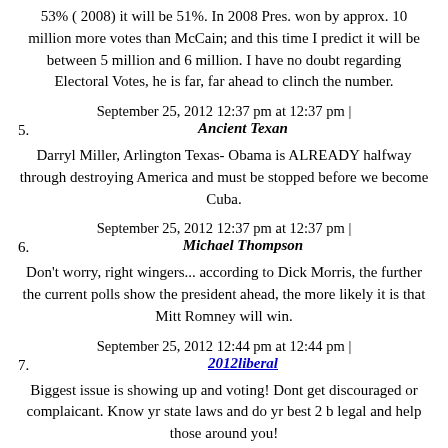53% ( 2008) it will be 51%. In 2008 Pres. won by approx. 10 million more votes than McCain; and this time I predict it will be between 5 million and 6 million. I have no doubt regarding Electoral Votes, he is far, far ahead to clinch the number.
September 25, 2012 12:37 pm at 12:37 pm | Ancient Texan
Darryl Miller, Arlington Texas- Obama is ALREADY halfway through destroying America and must be stopped before we become Cuba.
September 25, 2012 12:37 pm at 12:37 pm | Michael Thompson
Don't worry, right wingers... according to Dick Morris, the further the current polls show the president ahead, the more likely it is that Mitt Romney will win.
September 25, 2012 12:44 pm at 12:44 pm | 2012liberal
Biggest issue is showing up and voting! Dont get discouraged or complaicant. Know yr state laws and do yr best 2 b legal and help those around you!